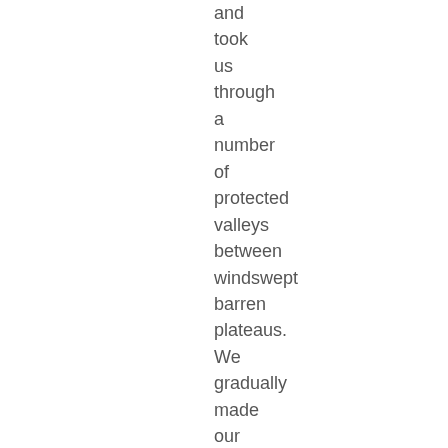and took us through a number of protected valleys between windswept barren plateaus. We gradually made our way south, and downward, running parallel to one